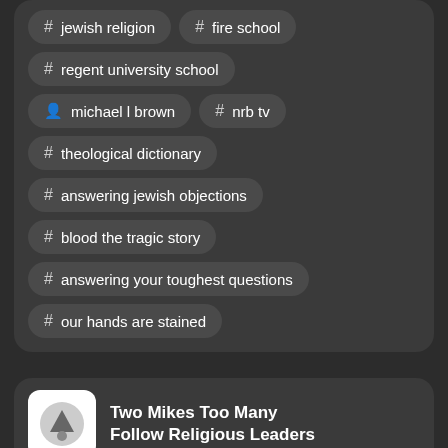# jewish religion
# fire school
# regent university school
person michael l brown
# nrb tv
# theological dictionary
# answering jewish objections
# blood the tragic story
# answering your toughest questions
# our hands are stained
Two Mikes Too Many Follow Religious Leaders